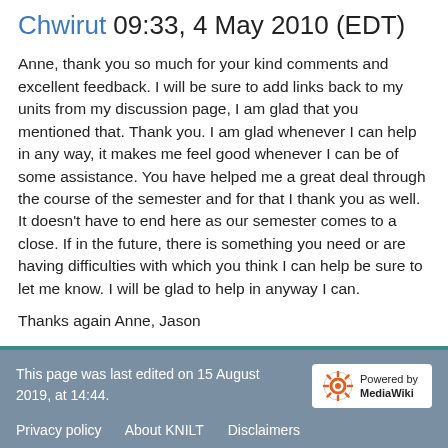Chwirut 09:33, 4 May 2010 (EDT)
Anne, thank you so much for your kind comments and excellent feedback. I will be sure to add links back to my units from my discussion page, I am glad that you mentioned that. Thank you. I am glad whenever I can help in any way, it makes me feel good whenever I can be of some assistance. You have helped me a great deal through the course of the semester and for that I thank you as well. It doesn't have to end here as our semester comes to a close. If in the future, there is something you need or are having difficulties with which you think I can help be sure to let me know. I will be glad to help in anyway I can.
Thanks again Anne, Jason
This page was last edited on 15 August 2019, at 14:44. Privacy policy   About KNILT   Disclaimers